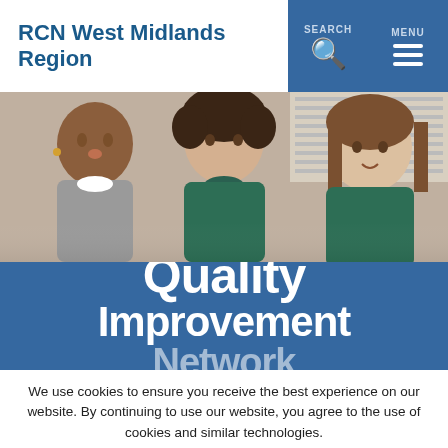RCN West Midlands Region
[Figure (photo): Three women in nursing uniforms (one in grey scrubs, two in dark green scrubs) seated and talking together]
Quality Improvement Network
We use cookies to ensure you receive the best experience on our website. By continuing to use our website, you agree to the use of cookies and similar technologies.
Read our cookie policy and how to disable them
I AGREE